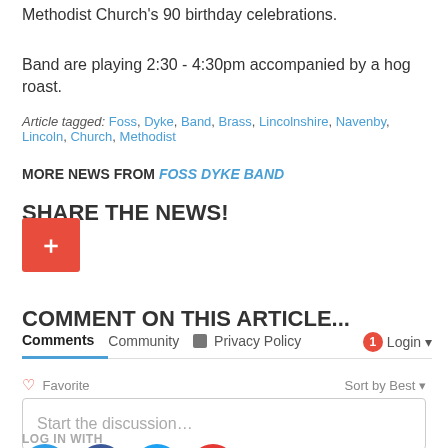Foss Dyke Band are providing entertainment for the Navenby Methodist Church's 90 birthday celebrations.
Band are playing 2:30 - 4:30pm accompanied by a hog roast.
Article tagged: Foss, Dyke, Band, Brass, Lincolnshire, Navenby, Lincoln, Church, Methodist
MORE NEWS FROM FOSS DYKE BAND
SHARE THE NEWS!
[Figure (other): Red share/add button with white plus sign]
COMMENT ON THIS ARTICLE...
Comments | Community | Privacy Policy | 1 | Login
Favorite | Sort by Best
Start the discussion...
LOG IN WITH
[Figure (other): Social login icons: Disqus (blue), Facebook (dark blue), Twitter (light blue), Google (red)]